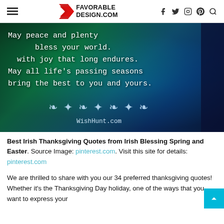FAVORABLE DESIGN.COM
[Figure (photo): Dark teal/blue bokeh background with white serif text quote: 'May peace and plenty bless your world. with joy that long endures. May all life's passing seasons bring the best to you and yours.' with ornamental flourish and WishHunt.com watermark]
Best Irish Thanksgiving Quotes from Irish Blessing Spring and Easter. Source Image: pinterest.com. Visit this site for details: pinterest.com
We are thrilled to share with you our 34 preferred thanksgiving quotes! Whether it's the Thanksgiving Day holiday, one of the ways that you want to express your...